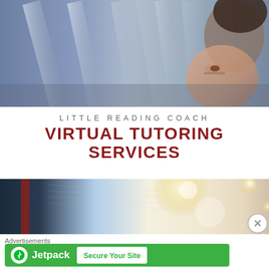[Figure (photo): Blurred close-up photo of a person (child) reading or looking down, with light streaks in blue/grey tones]
LITTLE READING COACH
VIRTUAL TUTORING SERVICES
[Figure (photo): Blurred close-up photo of an open book with warm bokeh light in the background]
Advertisements
[Figure (other): Jetpack advertisement banner with green background, Jetpack logo on the left and 'Secure Your Site' button on the right]